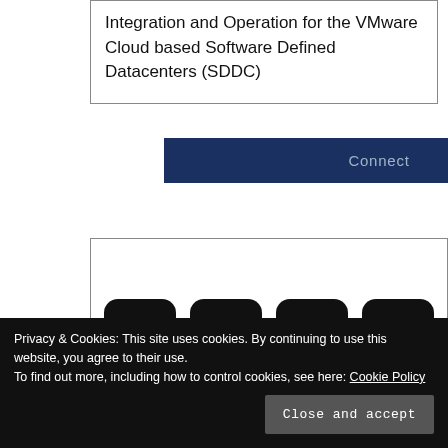Integration and Operation for the VMware Cloud based Software Defined Datacenters (SDDC)
Connect
[Figure (infographic): Row of four social media icon buttons (email, GitHub, LinkedIn, RSS) and a second row of two more icons (Twitter/X, Flickr), all dark rounded square buttons with white icons]
Privacy & Cookies: This site uses cookies. By continuing to use this website, you agree to their use.
To find out more, including how to control cookies, see here: Cookie Policy
Close and accept